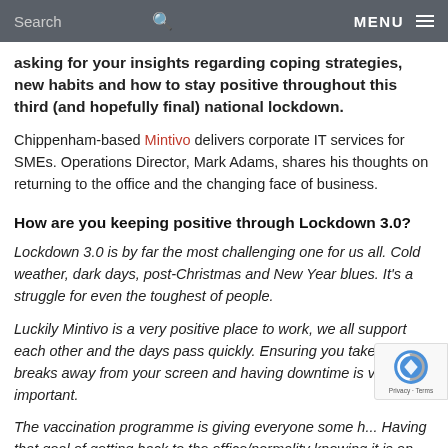Search   MENU
asking for your insights regarding coping strategies, new habits and how to stay positive throughout this third (and hopefully final) national lockdown.
Chippenham-based Mintivo delivers corporate IT services for SMEs. Operations Director, Mark Adams, shares his thoughts on returning to the office and the changing face of business.
How are you keeping positive through Lockdown 3.0?
Lockdown 3.0 is by far the most challenging one for us all. Cold weather, dark days, post-Christmas and New Year blues. It's a struggle for even the toughest of people.
Luckily Mintivo is a very positive place to work, we all support each other and the days pass quickly. Ensuring you take regular breaks away from your screen and having downtime is very important.
The vaccination programme is giving everyone some h... Having that goal of getting back to the office/normality... knowing it is on the horizon is something to really focu...
How are you...